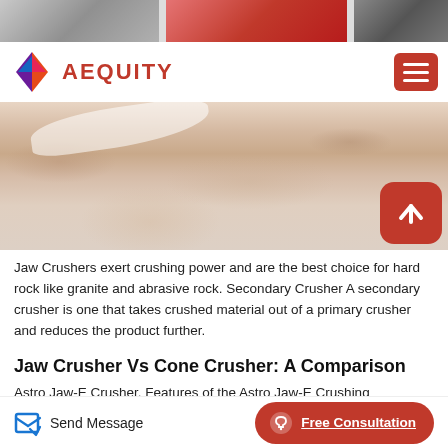[Figure (photo): Top strip showing industrial/machinery images in grayscale and red tones]
[Figure (logo): AEQUITY logo with colorful diamond/arrow icon and red text]
[Figure (photo): Crushed rock/gravel close-up photo in pink/tan tones with white curved element]
Jaw Crushers exert crushing power and are the best choice for hard rock like granite and abrasive rock. Secondary Crusher A secondary crusher is one that takes crushed material out of a primary crusher and reduces the product further.
Jaw Crusher Vs Cone Crusher: A Comparison
Astro Jaw-E Crusher. Features of the Astro Jaw-E Crushing Equipment Large Crushing Capacity with New "V" Chamber Design
[Figure (other): Send Message button with edit icon]
[Figure (other): Free Consultation red rounded button with headset icon]